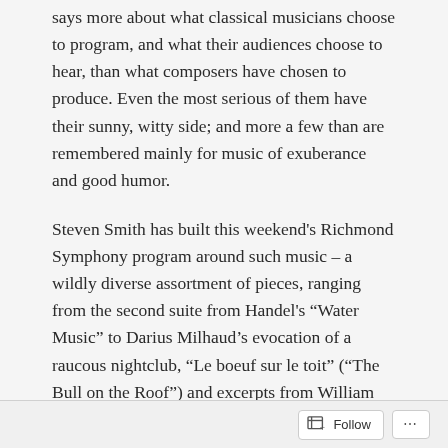says more about what classical musicians choose to program, and what their audiences choose to hear, than what composers have chosen to produce. Even the most serious of them have their sunny, witty side; and more a few than are remembered mainly for music of exuberance and good humor.
Steven Smith has built this weekend's Richmond Symphony program around such music – a wildly diverse assortment of pieces, ranging from the second suite from Handel's “Water Music” to Darius Milhaud's evocation of a raucous nightclub, “Le boeuf sur le toit” (“The Bull on the Roof”) and excerpts from William Walton's “Façade,” music written to accompany Edith Sitwell's dada-esque
Follow ···